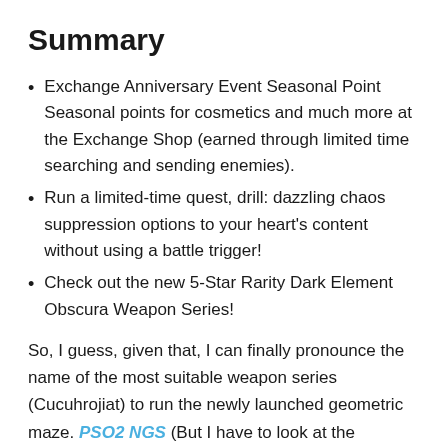Summary
Exchange Anniversary Event Seasonal Point Seasonal points for cosmetics and much more at the Exchange Shop (earned through limited time searching and sending enemies).
Run a limited-time quest, drill: dazzling chaos suppression options to your heart's content without using a battle trigger!
Check out the new 5-Star Rarity Dark Element Obscura Weapon Series!
So, I guess, given that, I can finally pronounce the name of the most suitable weapon series (Cucuhrojiat) to run the newly launched geometric maze. PSO2 NGS (But I have to look at the spelling.) Fortunately, the PSO2 NGS The first anniversary event, which began on May 11, brings a new Elemental